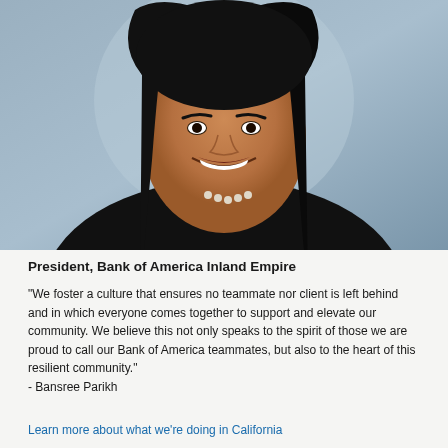[Figure (photo): Professional headshot of Bansree Parikh, a woman with long dark hair, smiling, wearing a dark blazer and pearl necklace, against a grey-blue studio background.]
President, Bank of America Inland Empire
"We foster a culture that ensures no teammate nor client is left behind and in which everyone comes together to support and elevate our community. We believe this not only speaks to the spirit of those we are proud to call our Bank of America teammates, but also to the heart of this resilient community." - Bansree Parikh
Learn more about what we're doing in California